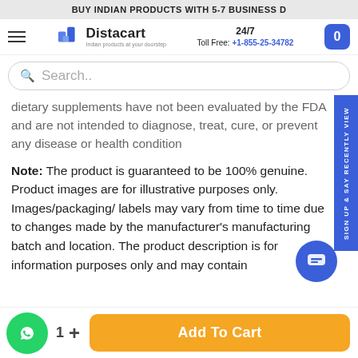BUY INDIAN PRODUCTS WITH 5-7 BUSINESS D
[Figure (logo): Distacart logo with tagline 'Indian products at your doorstep']
24/7 Toll Free: +1-855-25-34782
Search..
dietary supplements have not been evaluated by the FDA and are not intended to diagnose, treat, cure, or prevent any disease or health condition
Note: The product is guaranteed to be 100% genuine. Product images are for illustrative purposes only. Images/packaging/ labels may vary from time to time due to changes made by the manufacturer's manufacturing batch and location. The product description is for information purposes only and may contain
Add To Cart